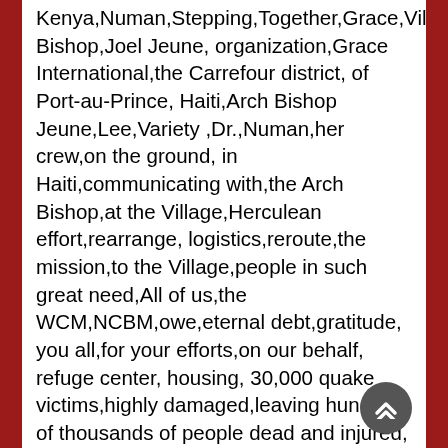Kenya,Numan,Stepping,Together,Grace,Village,humanitarian,Arch Bishop,Joel Jeune, organization,Grace International,the Carrefour district, of Port-au-Prince, Haiti,Arch Bishop Jeune,Lee,Variety ,Dr.,Numan,her crew,on the ground, in Haiti,communicating with,the Arch Bishop,at the Village,Herculean effort,rearrange, logistics,reroute,the mission,to the Village,people in such great need,All of us,the WCM,NCBM,owe,eternal debt,gratitude, you all,for your efforts,on our behalf, refuge center, housing, 30,000 quake victims,highly damaged,leaving hundreds of thousands of people dead and injured, before the earthquake, Arch Bishop Joel Jeune,living conditions in Carrefour,most precarious, economic activities, improve the living conditions,population,National Institutions of health, high risk of propagation,contamination,diseases,lack of medical attention ,malnutrition, resulting in great societal damage,Many other factors,contribute to,the lack of general health, unavailability, electricity,refrigeration,food poisoning,doctors,nurses,without any medical supplies,help,untrained,unqualified,volunteers,men, women, children,